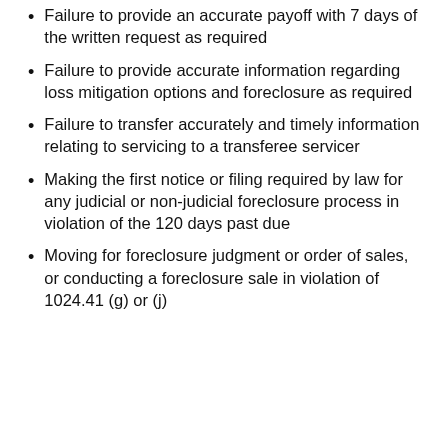Failure to provide an accurate payoff with 7 days of the written request as required
Failure to provide accurate information regarding loss mitigation options and foreclosure as required
Failure to transfer accurately and timely information relating to servicing to a transferee servicer
Making the first notice or filing required by law for any judicial or non-judicial foreclosure process in violation of the 120 days past due
Moving for foreclosure judgment or order of sales, or conducting a foreclosure sale in violation of 1024.41 (g) or (j)